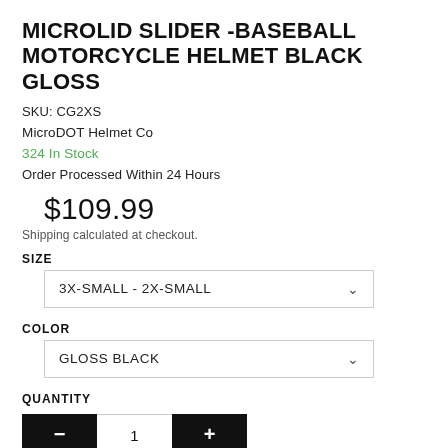MICROLID SLIDER -BASEBALL MOTORCYCLE HELMET BLACK GLOSS
SKU: CG2XS
MicroDOT Helmet Co
324 In Stock
Order Processed Within 24 Hours
$109.99
Shipping calculated at checkout.
SIZE
3X-SMALL - 2X-SMALL
COLOR
GLOSS BLACK
QUANTITY
— 1 +